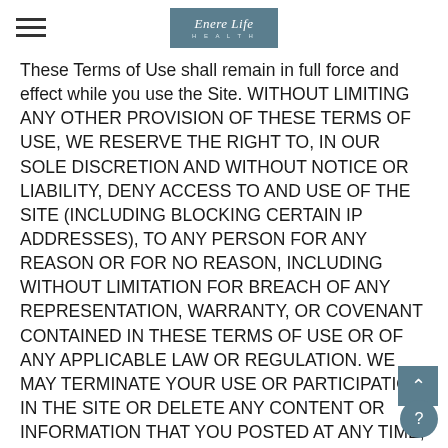Enere Life Health
These Terms of Use shall remain in full force and effect while you use the Site. WITHOUT LIMITING ANY OTHER PROVISION OF THESE TERMS OF USE, WE RESERVE THE RIGHT TO, IN OUR SOLE DISCRETION AND WITHOUT NOTICE OR LIABILITY, DENY ACCESS TO AND USE OF THE SITE (INCLUDING BLOCKING CERTAIN IP ADDRESSES), TO ANY PERSON FOR ANY REASON OR FOR NO REASON, INCLUDING WITHOUT LIMITATION FOR BREACH OF ANY REPRESENTATION, WARRANTY, OR COVENANT CONTAINED IN THESE TERMS OF USE OR OF ANY APPLICABLE LAW OR REGULATION. WE MAY TERMINATE YOUR USE OR PARTICIPATION IN THE SITE OR DELETE ANY CONTENT OR INFORMATION THAT YOU POSTED AT ANY TIME, WITHOUT WARNING, IN OUR SOLE DISCRETION.